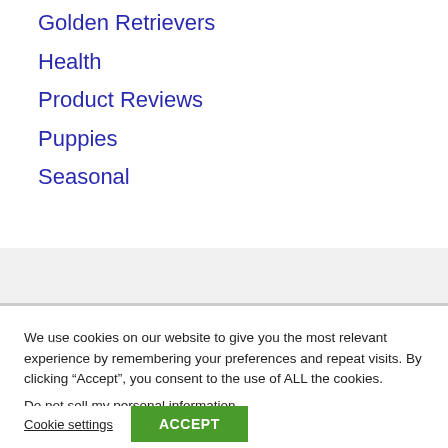Golden Retrievers
Health
Product Reviews
Puppies
Seasonal
We use cookies on our website to give you the most relevant experience by remembering your preferences and repeat visits. By clicking “Accept”, you consent to the use of ALL the cookies. Do not sell my personal information.
Cookie settings   ACCEPT